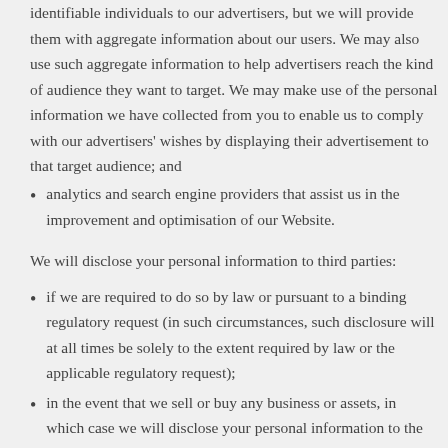identifiable individuals to our advertisers, but we will provide them with aggregate information about our users. We may also use such aggregate information to help advertisers reach the kind of audience they want to target. We may make use of the personal information we have collected from you to enable us to comply with our advertisers' wishes by displaying their advertisement to that target audience; and
analytics and search engine providers that assist us in the improvement and optimisation of our Website.
We will disclose your personal information to third parties:
if we are required to do so by law or pursuant to a binding regulatory request (in such circumstances, such disclosure will at all times be solely to the extent required by law or the applicable regulatory request);
in the event that we sell or buy any business or assets, in which case we will disclose your personal information to the prospective seller or buyer of such business or assets;